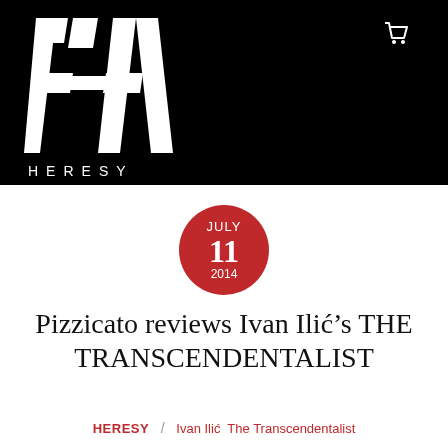HERESY — logo header banner
[Figure (logo): HERESY logo: stylized white H letterform on black background with the word HERESY in spaced capitals below]
JULY 11 2014
Pizzicato reviews Ivan Ilić's THE TRANSCENDENTALIST
HERESY / Ivan Ilić The Transcendentalist